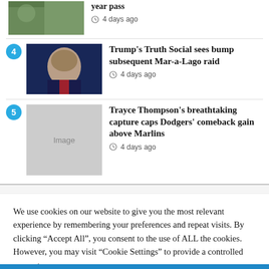year pass
4 days ago
Trump's Truth Social sees bump subsequent Mar-a-Lago raid
4 days ago
Trayce Thompson's breathtaking capture caps Dodgers' comeback gain above Marlins
4 days ago
We use cookies on our website to give you the most relevant experience by remembering your preferences and repeat visits. By clicking “Accept All”, you consent to the use of ALL the cookies. However, you may visit "Cookie Settings" to provide a controlled consent.